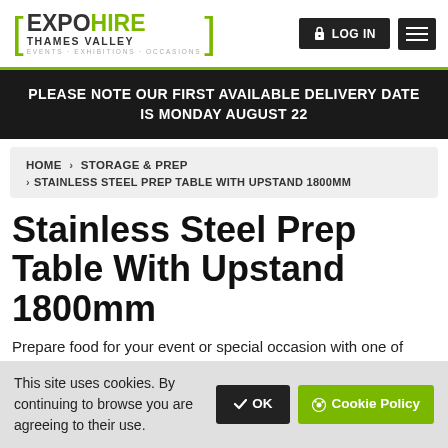EXPO HIRE THAMES VALLEY | EVENTS · EXHIBITIONS · OCCASIONS | LOG IN
PLEASE NOTE OUR FIRST AVAILABLE DELIVERY DATE IS MONDAY AUGUST 22
HOME › STORAGE & PREP › STAINLESS STEEL PREP TABLE WITH UPSTAND 1800MM
Stainless Steel Prep Table With Upstand 1800mm
Prepare food for your event or special occasion with one of these great stainless steel prep tables for hire
This site uses cookies. By continuing to browse you are agreeing to their use.  ✔ OK  🍪 Cookie Policy